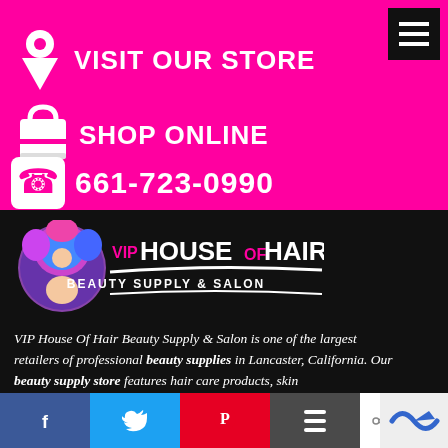[Figure (screenshot): Pink/magenta navigation header with white icons: location pin with VISIT OUR STORE, shopping bag with SHOP ONLINE, phone with 661-723-0990, and a hamburger menu button in the top right]
[Figure (logo): VIP House of Hair Beauty Supply & Salon logo with colorful afro woman portrait in circular frame]
VIP House Of Hair Beauty Supply & Salon is one of the largest retailers of professional beauty supplies in Lancaster, California. Our beauty supply store features hair care products, skin
[Figure (screenshot): Social sharing bar with Facebook, Twitter, Pinterest, Buffer buttons and a share count showing 4 SHARES]